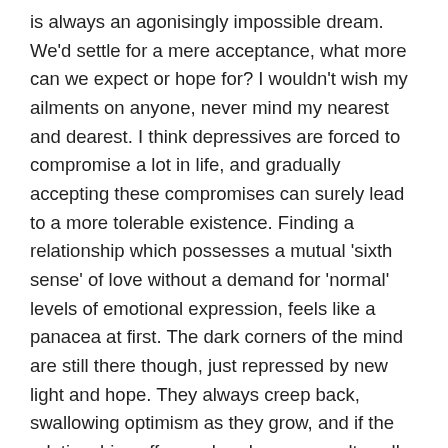is always an agonisingly impossible dream. We'd settle for a mere acceptance, what more can we expect or hope for? I wouldn't wish my ailments on anyone, never mind my nearest and dearest. I think depressives are forced to compromise a lot in life, and gradually accepting these compromises can surely lead to a more tolerable existence. Finding a relationship which possesses a mutual 'sixth sense' of love without a demand for 'normal' levels of emotional expression, feels like a panacea at first. The dark corners of the mind are still there though, just repressed by new light and hope. They always creep back, swallowing optimism as they grow, and if the relationship suffers or breaks as a result, well it's just unspeakable, indescribable.
Anyway as always your thoughts or experiences shared are greatly appreciated and encouraged. I'm sharing in the